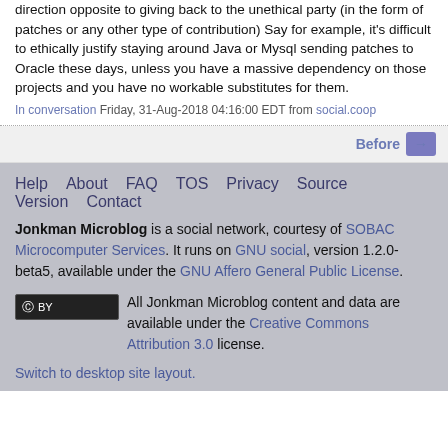direction opposite to giving back to the unethical party (in the form of patches or any other type of contribution) Say for example, it's difficult to ethically justify staying around Java or Mysql sending patches to Oracle these days, unless you have a massive dependency on those projects and you have no workable substitutes for them.
In conversation Friday, 31-Aug-2018 04:16:00 EDT from social.coop
Before →
Help   About   FAQ   TOS   Privacy   Source   Version   Contact
Jonkman Microblog is a social network, courtesy of SOBAC Microcomputer Services. It runs on GNU social, version 1.2.0-beta5, available under the GNU Affero General Public License.
[Figure (logo): Creative Commons BY license badge]
All Jonkman Microblog content and data are available under the Creative Commons Attribution 3.0 license.
Switch to desktop site layout.